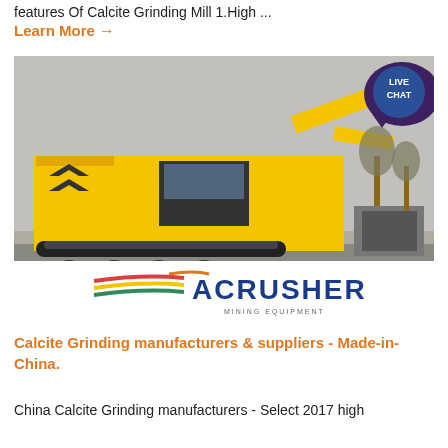features Of Calcite Grinding Mill 1.High ...
Learn More →
[Figure (photo): Yellow mining crusher machine on a flatbed truck, with ACRUSHER MINING EQUIPMENT logo at the bottom and a LIVE CHAT bubble overlay in the top right corner.]
Calcite Grinding manufacturers & suppliers - Made-in-China.
China Calcite Grinding manufacturers - Select 2017 high